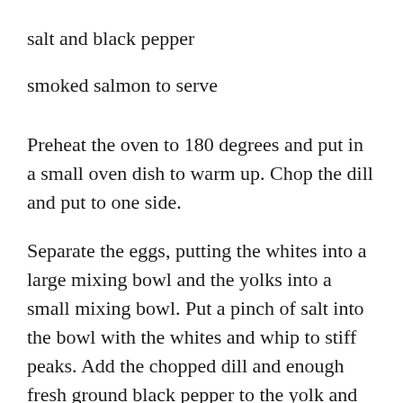salt and black pepper
smoked salmon to serve
Preheat the oven to 180 degrees and put in a small oven dish to warm up. Chop the dill and put to one side.
Separate the eggs, putting the whites into a large mixing bowl and the yolks into a small mixing bowl. Put a pinch of salt into the bowl with the whites and whip to stiff peaks. Add the chopped dill and enough fresh ground black pepper to the yolk and beat for one minute till the yolks start to look thicker and slightly creamy. Add a third of the beaten whites to the yolks and fold in with a metal spoon. Fold in the